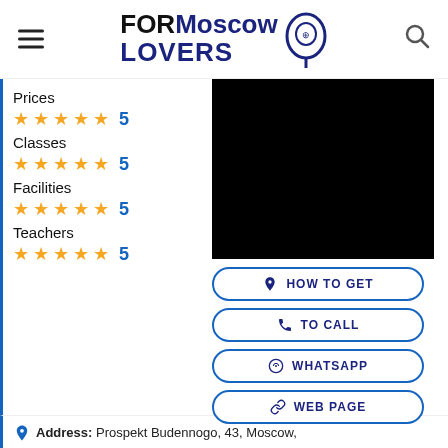FOR Moscow LOVERS
Prices ★★★★★ 5
Classes ★★★★★ 5
Facilities ★★★★★ 5
Teachers ★★★★★ 5
[Figure (photo): Black rectangular image placeholder]
HOW TO GET
TO CALL
WHATSAPP
WEB PAGE
Address: Prospekt Budennogo, 43, Moscow,